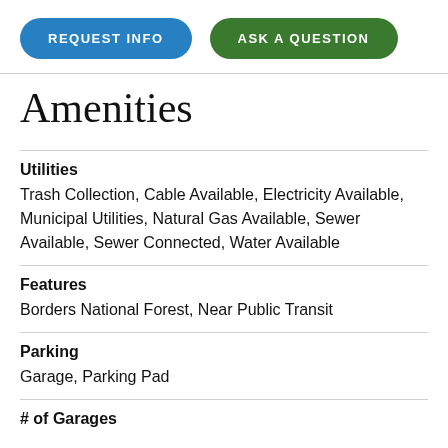[Figure (other): Two buttons: REQUEST INFO (blue) and ASK A QUESTION (green)]
Amenities
Utilities
Trash Collection, Cable Available, Electricity Available, Municipal Utilities, Natural Gas Available, Sewer Available, Sewer Connected, Water Available
Features
Borders National Forest, Near Public Transit
Parking
Garage, Parking Pad
# of Garages